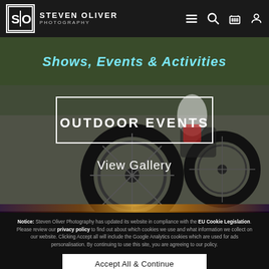STEVEN OLIVER PHOTOGRAPHY
[Figure (photo): BMX bike riders at an outdoor event, used as hero background image for Shows, Events & Activities section]
Shows, Events & Activities
OUTDOOR EVENTS
View Gallery
Notice: Steven Oliver Photography has updated its website in compliance with the EU Cookie Legislation. Please review our privacy policy to find out about which cookies we use and what information we collect on our website. Clicking Accept all will include the Google Analytics cookies which are used for ads personalisation. By continuing to use this site, you are agreeing to our policy.
Accept All & Continue
Review & Change